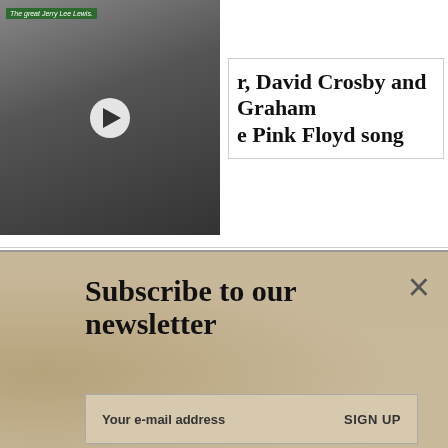[Figure (photo): Black and white video thumbnail of Jerry Lee Lewis smiling, with a play button overlay and green label 'The great Jerry Lee Lewis.']
r, David Crosby and Graham e Pink Floyd song
[Figure (infographic): Newsletter subscription banner with sandy/beige textured background. Large bold text reads 'Subscribe to our newsletter'. Below is an email input field with 'Your e-mail address' placeholder and a 'SIGN UP' button. An X close button is in the top right.]
[Figure (screenshot): BitLife mobile game advertisement banner in red with yellow BitLife logo text, sperm icon, knife graphic, 'Murder' text, 'Do it!' blue button, and help/close icons. A squiggly line and close circle button appear above the ad.]